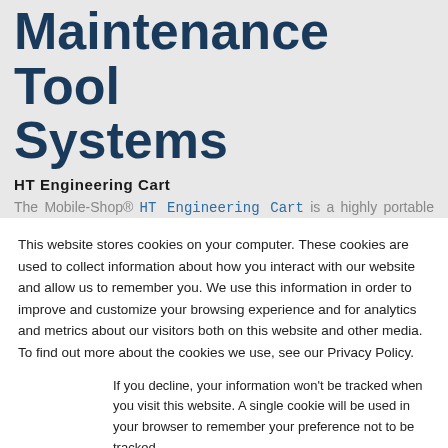Maintenance Tool Systems
HT Engineering Cart
The Mobile-Shop® HT Engineering Cart is a highly portable maintenance retail cart complete with 230 retail maintenance tools, and designed to quickly and efficiently move around
This website stores cookies on your computer. These cookies are used to collect information about how you interact with our website and allow us to remember you. We use this information in order to improve and customize your browsing experience and for analytics and metrics about our visitors both on this website and other media. To find out more about the cookies we use, see our Privacy Policy.
If you decline, your information won't be tracked when you visit this website. A single cookie will be used in your browser to remember your preference not to be tracked.